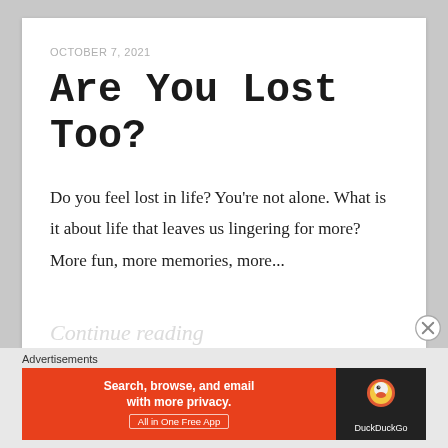OCTOBER 7, 2021
Are You Lost Too?
Do you feel lost in life? You're not alone. What is it about life that leaves us lingering for more? More fun, more memories, more...
Continue reading
[Figure (other): DuckDuckGo advertisement banner: 'Search, browse, and email with more privacy. All in One Free App' with DuckDuckGo logo on dark background]